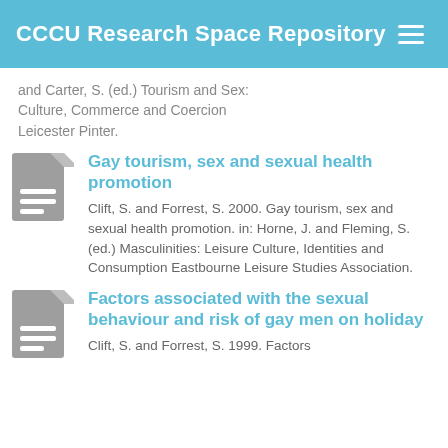CCCU Research Space Repository
and Carter, S. (ed.) Tourism and Sex: Culture, Commerce and Coercion Leicester Pinter.
Gay tourism, sex and sexual health promotion
Clift, S. and Forrest, S. 2000. Gay tourism, sex and sexual health promotion. in: Horne, J. and Fleming, S. (ed.) Masculinities: Leisure Culture, Identities and Consumption Eastbourne Leisure Studies Association.
Factors associated with the sexual behaviour and risk of gay men on holiday
Clift, S. and Forrest, S. 1999. Factors